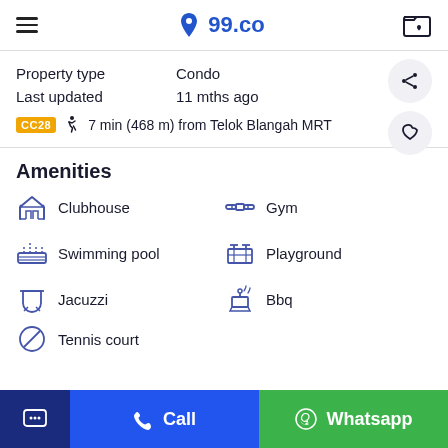99.co
Property type: Condo
Last updated: 11 mths ago
CC28  7 min (468 m) from Telok Blangah MRT
Amenities
Clubhouse
Gym
Swimming pool
Playground
Jacuzzi
Bbq
Tennis court
Call  Whatsapp